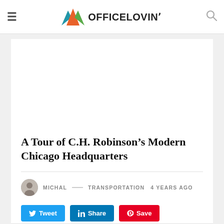OFFICELOVIN'
[Figure (illustration): White advertisement placeholder space]
A Tour of C.H. Robinson’s Modern Chicago Headquarters
MICHAL — TRANSPORTATION   4 YEARS AGO
Tweet  Share  Save